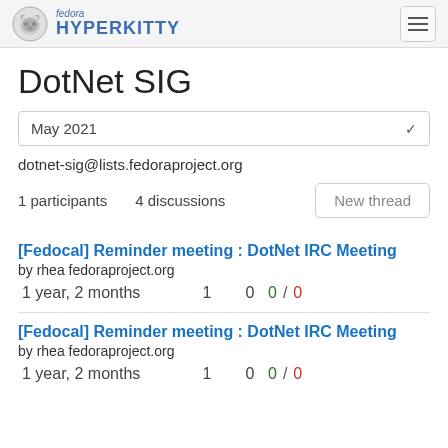fedora HYPERKITTY
DotNet SIG
May 2021
dotnet-sig@lists.fedoraproject.org
1 participants   4 discussions
[Fedocal] Reminder meeting : DotNet IRC Meeting
by rhea@fedoraproject.org
1 year, 2 months   1   0   0 / 0
[Fedocal] Reminder meeting : DotNet IRC Meeting
by rhea@fedoraproject.org
1 year, 2 months   1   0   0 / 0